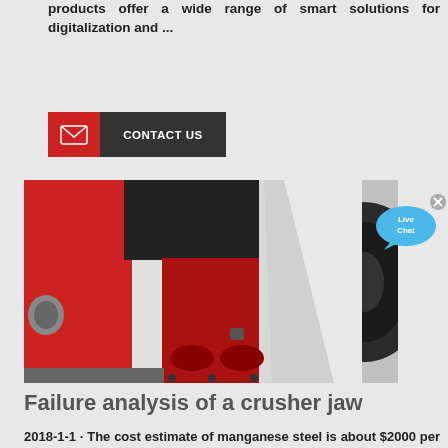products offer a wide range of smart solutions for digitalization and ...
[Figure (other): Contact Us button with red envelope icon on left and dark grey label on right]
[Figure (photo): Close-up photo of a red and silver crusher jaw machine interior showing mechanical components]
[Figure (other): Live Chat speech bubble icon in blue]
Failure analysis of a crusher jaw
2018-1-1 · The cost estimate of manganese steel is about $2000 per ton. For the crusher machine using a